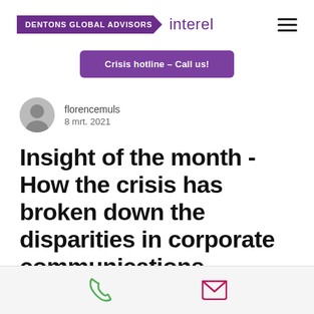DENTONS GLOBAL ADVISORS interel
Crisis hotline - Call us!
florencemuls
8 mrt. 2021
Insight of the month - How the crisis has broken down the disparities in corporate communications